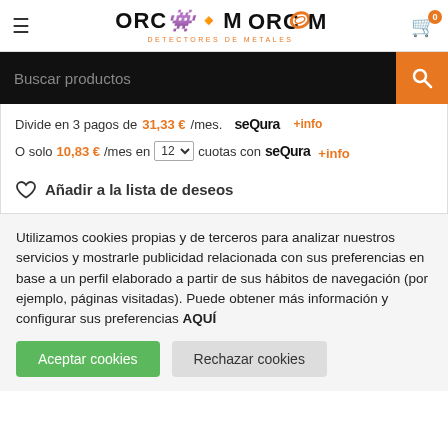ORCROM DETECTORES DE METALES
Buscar productos
Divide en 3 pagos de 31,33 €/mes. seQura +info
O solo 10,83 €/mes en 12 cuotas con seQura +info
Añadir a la lista de deseos
Utilizamos cookies propias y de terceros para analizar nuestros servicios y mostrarle publicidad relacionada con sus preferencias en base a un perfil elaborado a partir de sus hábitos de navegación (por ejemplo, páginas visitadas). Puede obtener más información y configurar sus preferencias AQUÍ
Aceptar cookies
Rechazar cookies